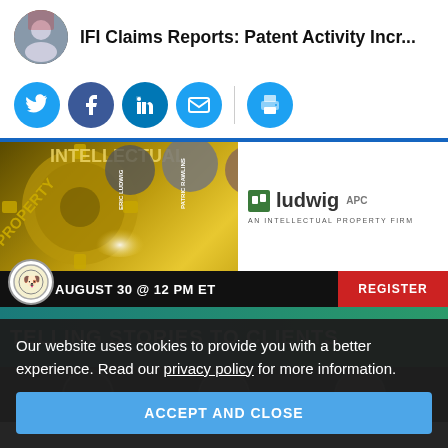IFI Claims Reports: Patent Activity Incr...
[Figure (other): Social sharing buttons: Twitter, Facebook, LinkedIn, Email, Print]
[Figure (infographic): Ad banner for Ludwig APC intellectual property webinar. August 30 @ 12 PM ET. Register button shown.]
[Figure (infographic): Ad banner reading 'TELLING STORIES TO CLIENTS' with teal/green background]
Our website uses cookies to provide you with a better experience. Read our privacy policy for more information.
ACCEPT AND CLOSE